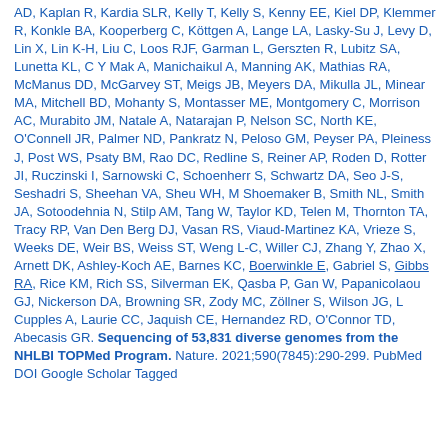AD, Kaplan R, Kardia SLR, Kelly T, Kelly S, Kenny EE, Kiel DP, Klemmer R, Konkle BA, Kooperberg C, Köttgen A, Lange LA, Lasky-Su J, Levy D, Lin X, Lin K-H, Liu C, Loos RJF, Garman L, Gerszten R, Lubitz SA, Lunetta KL, C Y Mak A, Manichaikul A, Manning AK, Mathias RA, McManus DD, McGarvey ST, Meigs JB, Meyers DA, Mikulla JL, Minear MA, Mitchell BD, Mohanty S, Montasser ME, Montgomery C, Morrison AC, Murabito JM, Natale A, Natarajan P, Nelson SC, North KE, O'Connell JR, Palmer ND, Pankratz N, Peloso GM, Peyser PA, Pleiness J, Post WS, Psaty BM, Rao DC, Redline S, Reiner AP, Roden D, Rotter JI, Ruczinski I, Sarnowski C, Schoenherr S, Schwartz DA, Seo J-S, Seshadri S, Sheehan VA, Sheu WH, M Shoemaker B, Smith NL, Smith JA, Sotoodehnia N, Stilp AM, Tang W, Taylor KD, Telen M, Thornton TA, Tracy RP, Van Den Berg DJ, Vasan RS, Viaud-Martinez KA, Vrieze S, Weeks DE, Weir BS, Weiss ST, Weng L-C, Willer CJ, Zhang Y, Zhao X, Arnett DK, Ashley-Koch AE, Barnes KC, Boerwinkle E, Gabriel S, Gibbs RA, Rice KM, Rich SS, Silverman EK, Qasba P, Gan W, Papanicolaou GJ, Nickerson DA, Browning SR, Zody MC, Zöllner S, Wilson JG, L Cupples A, Laurie CC, Jaquish CE, Hernandez RD, O'Connor TD, Abecasis GR. Sequencing of 53,831 diverse genomes from the NHLBI TOPMed Program. Nature. 2021;590(7845):290-299. PubMed DOI Google Scholar Tagged